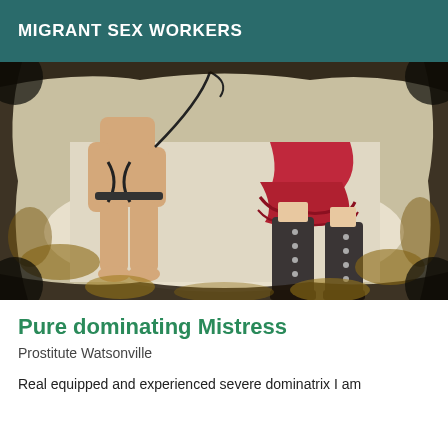MIGRANT SEX WORKERS
[Figure (photo): Photo showing two figures from waist/torso down: one person kneeling and bound with leather straps holding a whip/crop, another figure wearing a red ruffled skirt and tall dark over-the-knee boots. The image has a burnt/scorched border effect with golden-brown edges on a dark background.]
Pure dominating Mistress
Prostitute Watsonville
Real equipped and experienced severe dominatrix I am